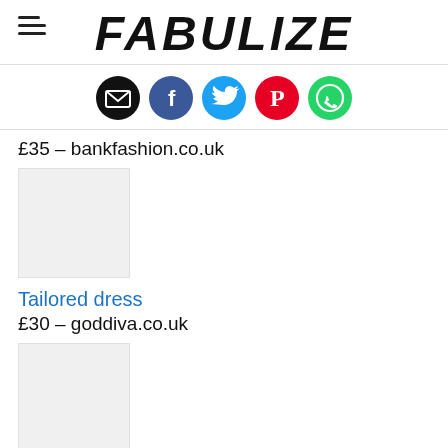FABULIZE
[Figure (infographic): Social media share icons row: email (black), Facebook (blue), Twitter (cyan), Pinterest (red), WhatsApp (green)]
£35 – bankfashion.co.uk
[Figure (photo): Product image placeholder (light grey box)]
Tailored dress
£30 – goddiva.co.uk
[Figure (photo): Product image placeholder (light grey box)]
Gianmarco Lorenzi python heels
$1,496 – farfetch.com
[Figure (photo): Product image placeholder (light grey box, partially visible)]